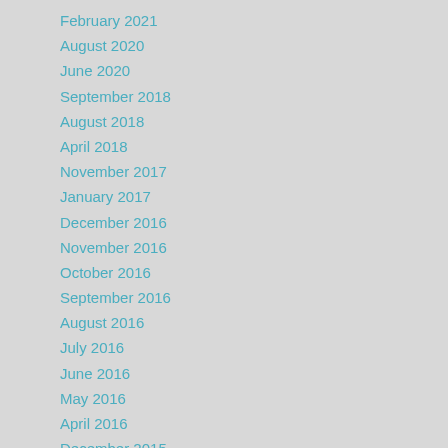February 2021
August 2020
June 2020
September 2018
August 2018
April 2018
November 2017
January 2017
December 2016
November 2016
October 2016
September 2016
August 2016
July 2016
June 2016
May 2016
April 2016
December 2015
October 2015
August 2015
March 2015
December 2011